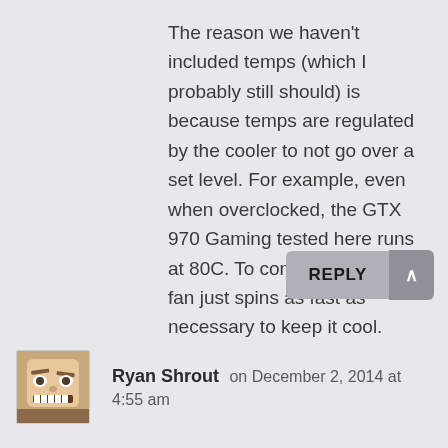The reason we haven't included temps (which I probably still should) is because temps are regulated by the cooler to not go over a set level. For example, even when overclocked, the GTX 970 Gaming tested here runs at 80C. To compensate, the fan just spins as fast as necessary to keep it cool.
REPLY
Ryan Shrout on December 2, 2014 at 4:55 am